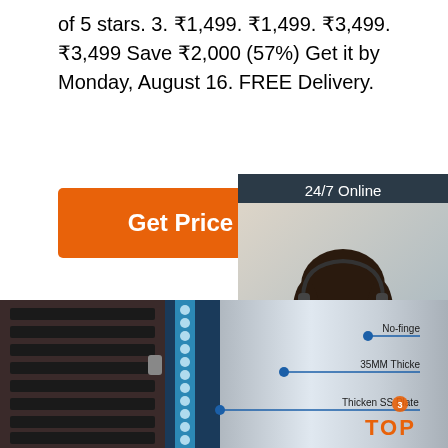of 5 stars. 3. ₹1,499. ₹1,499. ₹3,499. ₹3,499 Save ₹2,000 (57%) Get it by Monday, August 16. FREE Delivery.
Get Price
24/7 Online
[Figure (photo): Customer support woman with headset smiling]
Click here for free chat !
QUOTATION
[Figure (photo): Product cross-section diagram showing wine cooler layers with annotations: No-finger print, 35MM Thicker, Thicken SS Plate with numbered marker, and TOP badge]